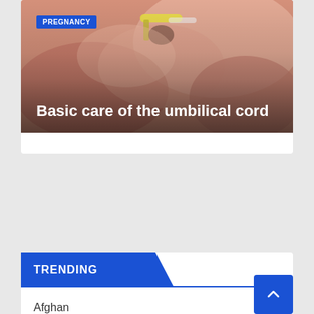[Figure (photo): Close-up photo of a newborn baby's umbilical cord area with a clamp, pinkish skin tones with warm lighting]
PREGNANCY
Basic care of the umbilical cord
TRENDING
Afghan
African